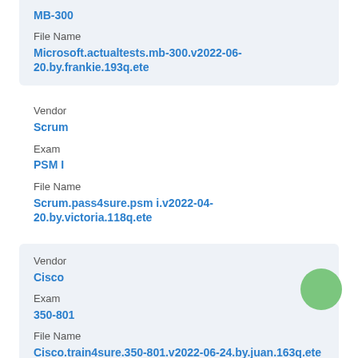MB-300
File Name
Microsoft.actualtests.mb-300.v2022-06-20.by.frankie.193q.ete
Vendor
Scrum
Exam
PSM I
File Name
Scrum.pass4sure.psm i.v2022-04-20.by.victoria.118q.ete
Vendor
Cisco
Exam
350-801
File Name
Cisco.train4sure.350-801.v2022-06-24.by.juan.163q.ete
Vendor